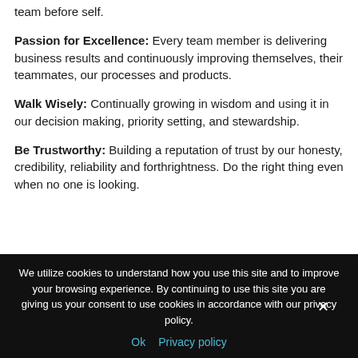team before self.
Passion for Excellence: Every team member is delivering business results and continuously improving themselves, their teammates, our processes and products.
Walk Wisely: Continually growing in wisdom and using it in our decision making, priority setting, and stewardship.
Be Trustworthy: Building a reputation of trust by our honesty, credibility, reliability and forthrightness. Do the right thing even when no one is looking.
We utilize cookies to understand how you use this site and to improve your browsing experience. By continuing to use this site you are giving us your consent to use cookies in accordance with our privacy policy.
Ok  Privacy policy